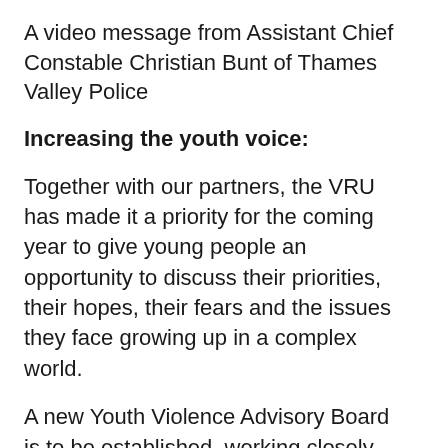A video message from Assistant Chief Constable Christian Bunt of Thames Valley Police
Increasing the youth voice:
Together with our partners, the VRU has made it a priority for the coming year to give young people an opportunity to discuss their priorities, their hopes, their fears and the issues they face growing up in a complex world.
A new Youth Violence Advisory Board is to be established, working closely with Oxfordshire Youth – piloting in Oxfordshire